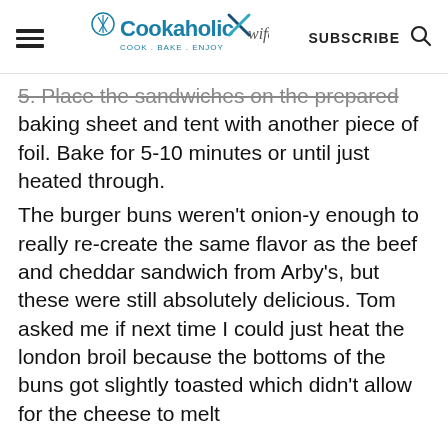Cookaholic Wife - COOK . BAKE . ENJOY  SUBSCRIBE
5. Place the sandwiches on the prepared baking sheet and tent with another piece of foil. Bake for 5-10 minutes or until just heated through.
The burger buns weren't onion-y enough to really re-create the same flavor as the beef and cheddar sandwich from Arby's, but these were still absolutely delicious. Tom asked me if next time I could just heat the london broil because the bottoms of the buns got slightly toasted which didn't allow for the cheese to melt